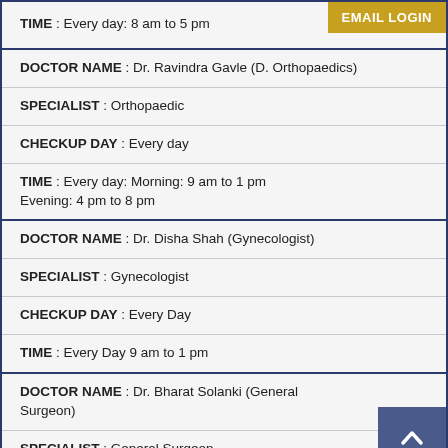TIME : Every day: 8 am to 5 pm
DOCTOR NAME : Dr. Ravindra Gavle (D. Orthopaedics)
SPECIALIST : Orthopaedic
CHECKUP DAY : Every day
TIME : Every day: Morning: 9 am to 1 pm Evening: 4 pm to 8 pm
DOCTOR NAME : Dr. Disha Shah (Gynecologist)
SPECIALIST : Gynecologist
CHECKUP DAY : Every Day
TIME : Every Day 9 am to 1 pm
DOCTOR NAME : Dr. Bharat Solanki (General Surgeon)
SPECIALIST : General Surgeon